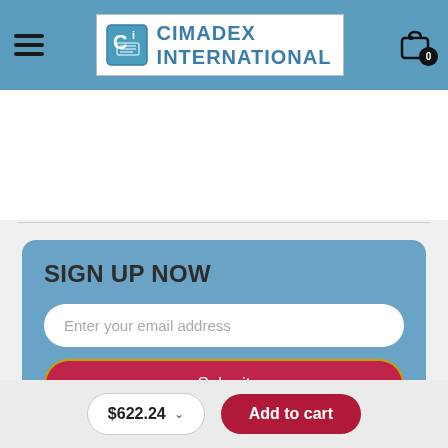[Figure (logo): Cimadex International logo with CI icon and blue text]
[Figure (screenshot): Sign up now form with email input and submit button on blue background]
Enter your email address
Submit
$622.24
Add to cart